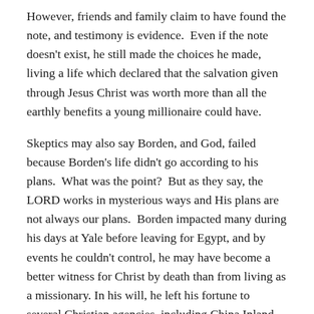However, friends and family claim to have found the note, and testimony is evidence.  Even if the note doesn't exist, he still made the choices he made, living a life which declared that the salvation given through Jesus Christ was worth more than all the earthly benefits a young millionaire could have.
Skeptics may also say Borden, and God, failed because Borden's life didn't go according to his plans.  What was the point?  But as they say, the LORD works in mysterious ways and His plans are not always our plans.  Borden impacted many during his days at Yale before leaving for Egypt, and by events he couldn't control, he may have become a better witness for Christ by death than from living as a missionary.  In his will, he left his fortune to several Christian agencies, including China Inland Mission, which named Borden Memorial Hospital in Lanzhou, China, in his memory.  Seized